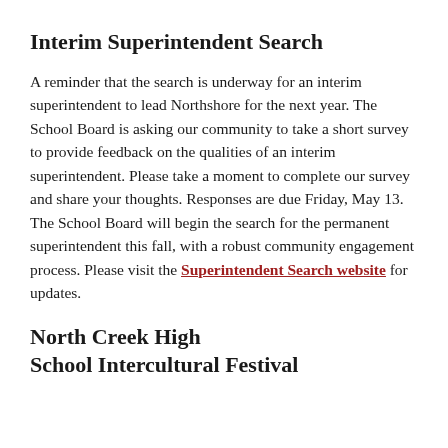Interim Superintendent Search
A reminder that the search is underway for an interim superintendent to lead Northshore for the next year. The School Board is asking our community to take a short survey to provide feedback on the qualities of an interim superintendent. Please take a moment to complete our survey and share your thoughts. Responses are due Friday, May 13. The School Board will begin the search for the permanent superintendent this fall, with a robust community engagement process. Please visit the Superintendent Search website for updates.
North Creek High School Intercultural Festival